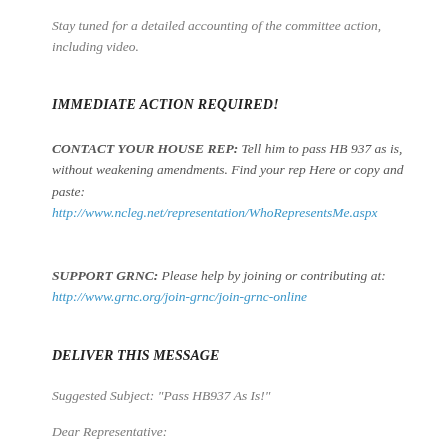Stay tuned for a detailed accounting of the committee action, including video.
IMMEDIATE ACTION REQUIRED!
CONTACT YOUR HOUSE REP: Tell him to pass HB 937 as is, without weakening amendments. Find your rep Here or copy and paste: http://www.ncleg.net/representation/WhoRepresentsMe.aspx
SUPPORT GRNC: Please help by joining or contributing at: http://www.grnc.org/join-grnc/join-grnc-online
DELIVER THIS MESSAGE
Suggested Subject: "Pass HB937 As Is!"
Dear Representative: